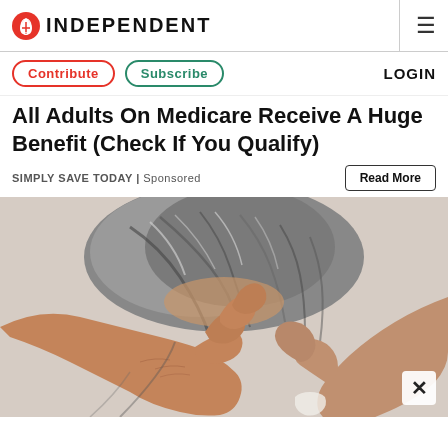INDEPENDENT
All Adults On Medicare Receive A Huge Benefit (Check If You Qualify)
SIMPLY SAVE TODAY | Sponsored
[Figure (photo): Close-up photograph of an elderly person's hands running through grey hair on their scalp, viewed from above.]